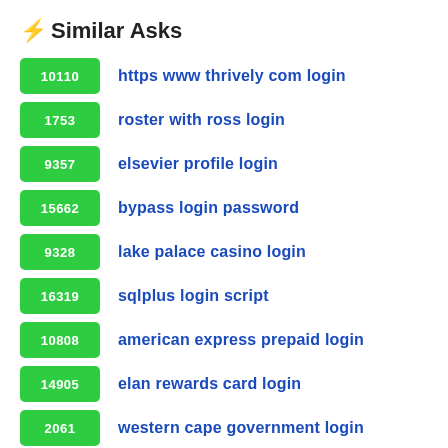⚡ Similar Asks
10110  https www thrively com login
1753  roster with ross login
9357  elsevier profile login
15662  bypass login password
9328  lake palace casino login
16319  sqlplus login script
10808  american express prepaid login
14905  elan rewards card login
2061  western cape government login
13085  sun dream team login